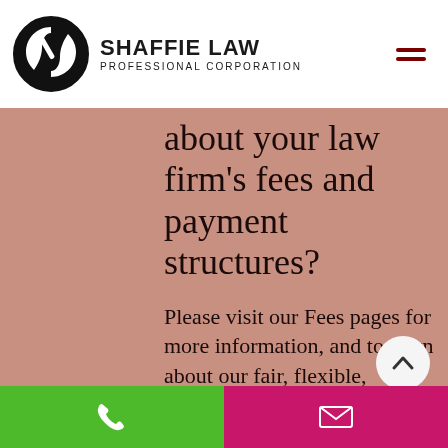SHAFFIE LAW PROFESSIONAL CORPORATION
about your law firm's fees and payment structures?
Please visit our Fees pages for more information, and to learn about our fair, flexible, transparent fee structures.
We work closely with all our clients to arrive at fair, flexible fees, including payment plans. In limited circumstances, we